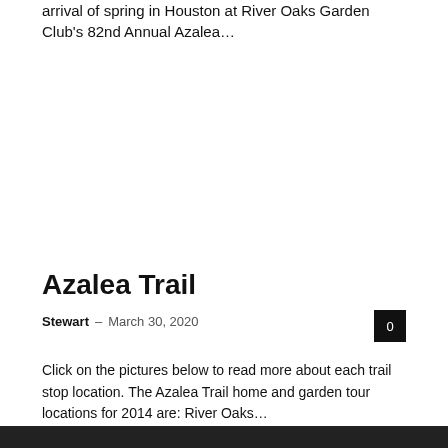arrival of spring in Houston at River Oaks Garden Club's 82nd Annual Azalea…
Azalea Trail
Stewart – March 30, 2020   0
Click on the pictures below to read more about each trail stop location. The Azalea Trail home and garden tour locations for 2014 are: River Oaks…